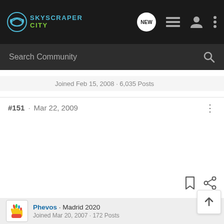[Figure (logo): SkyscraperCity logo with headphones icon and teal/green text]
Search Community
Joined Feb 15, 2008 · 6,035 Posts
#151 · Mar 22, 2009
Phevos · Madrid 2020
Joined Mar 20, 2007 · 172 Posts